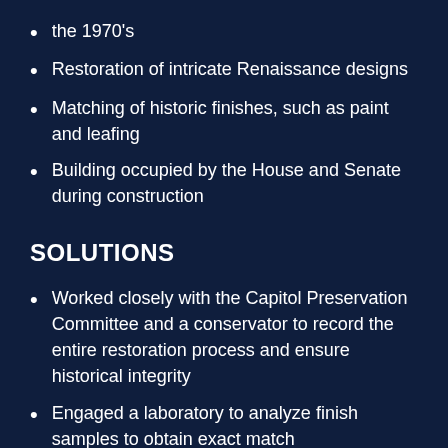the 1970's
Restoration of intricate Renaissance designs
Matching of historic finishes, such as paint and leafing
Building occupied by the House and Senate during construction
SOLUTIONS
Worked closely with the Capitol Preservation Committee and a conservator to record the entire restoration process and ensure historical integrity
Engaged a laboratory to analyze finish samples to obtain exact match
Scheduled work around House and Senate schedules to minimize disturbance and